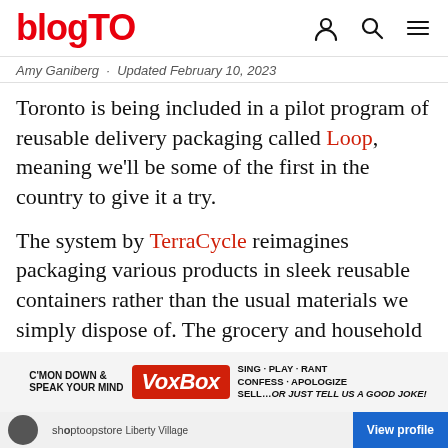blogTO
Amy Ganiberg · Updated February 10, 2023
Toronto is being included in a pilot program of reusable delivery packaging called Loop, meaning we'll be some of the first in the country to give it a try.
The system by TerraCycle reimagines packaging various products in sleek reusable containers rather than the usual materials we simply dispose of. The grocery and household goods delivery service is launching to 5000 residents in Ontario, and has already been implemented in the US and Europe.
[Figure (screenshot): Advertisement banner for VoxBox: C'MON DOWN & SPEAK YOUR MIND, VoxBox, SING · PLAY · RANT CONFESS · APOLOGIZE SELL...or just tell us a good joke!]
shoptoopstore Liberty Village · View profile